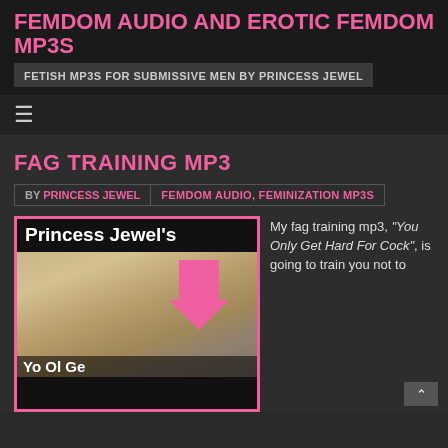FEMDOM AUDIO AND EROTIC FEMDOM MP3S
FETISH MP3S FOR SUBMISSIVE MEN BY PRINCESS JEWEL
FAG TRAINING MP3
BY PRINCESS JEWEL   FEMDOM AUDIO, FEMINIZATION MP3S
[Figure (photo): Product image for Princess Jewel's fag training mp3 showing a blonde woman with a pink arrow, text reads Princess Jewel's and partial bottom text]
My fag training mp3, “You Only Get Hard For Cock”, is going to train you not to